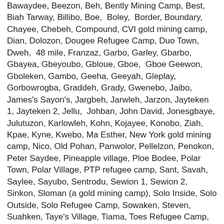Bawaydee, Beezon, Beh, Bently Mining Camp, Best, Biah Tarway, Billibo, Boe, Boley, Border, Boundary, Chayee, Chebeh, Compound, CVI gold mining camp, Dian, Dolozon, Dougee Refugee Camp, Duo Town, Dweh, 48 mile, Franzaz, Garbo, Garley, Gbarbo, Gbayea, Gbeyoubo, Gbloue, Gboe, Gboe Geewon, Gboleken, Gambo, Geeha, Geeyah, Gleplay, Gorbowrogba, Graddeh, Grady, Gwenebo, Jaibo, James's Sayon's, Jargbeh, Jarwleh, Jarzon, Jayteken 1, Jayteken 2, Jellu, Johban, John David, Jonesgbaye, Julutuzon, Karlowleh, Kohn, Kojayee, Konobo, Ziah, Kpae, Kyne, Kwebo, Ma Esther, New York gold mining camp, Nico, Old Pohan, Panwolor, Pellelzon, Penokon, Peter Saydee, Pineapple village, Ploe Bodee, Polar Town, Polar Village, PTP refugee camp, Sant, Savah, Saylee, Sayubo, Sentrodu, Sewion 1, Sewion 2, Sinkon, Sloman (a gold mining camp), Solo Inside, Solo Outside, Solo Refugee Camp, Sowaken, Steven, Suahken, Taye's Village, Tiama, Toes Refugee Camp, Toes Town, Toffoi, Togbayee, Tojillah, Toueah, Tuglor, Varglor, Vleyee, Whybo, Willie Jellu, Woloken, Wulu, Zarzar, Zaiyee, Zeon, Ziulay, Zwedru, the county prison, 4 road check stations, and the county hospital. Montserrado County: Bannerville, Jacob town, Monrovia, New Georgia